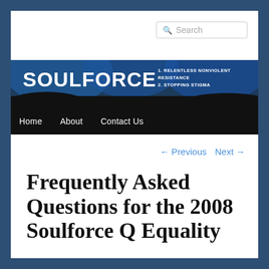[Figure (screenshot): Soulforce website header banner with logo text 'SOULFORCE' and taglines '1. RELENTLESS NONVIOLENT RESISTANCE' and '2. STOPPING STIGMA' on dark blue/black background]
Search
Home   About   Contact Us
← Previous   Next →
Frequently Asked Questions for the 2008 Soulforce Q Equality